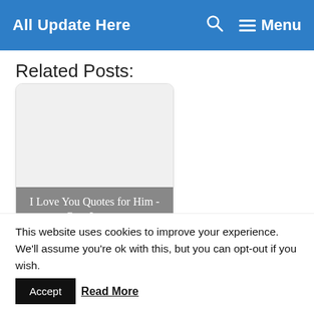All Update Here  🔍  ≡ Menu
Related Posts:
[Figure (illustration): Card with white/gray image area and gray overlay caption reading 'I Love You Quotes for Him - Cute Love...']
This website uses cookies to improve your experience. We'll assume you're ok with this, but you can opt-out if you wish.  Accept  Read More